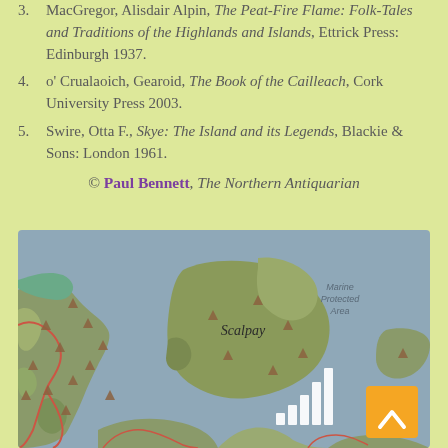3. MacGregor, Alisdair Alpin, The Peat-Fire Flame: Folk-Tales and Traditions of the Highlands and Islands, Ettrick Press: Edinburgh 1937.
4. o' Crualaoich, Gearoid, The Book of the Cailleach, Cork University Press 2003.
5. Swire, Otta F., Skye: The Island and its Legends, Blackie & Sons: London 1961.
© Paul Bennett, The Northern Antiquarian
[Figure (map): OpenStreetMap-style topographic map showing the island of Scalpay (Harris, Scotland) with surrounding waters, land terrain in olive/green tones, water in blue-grey, terrain markers (brown triangles) indicating hills, a label for 'Marine Protected Area' in the upper right, a cell signal strength icon overlay, and a back-to-top orange button in the lower right corner.]